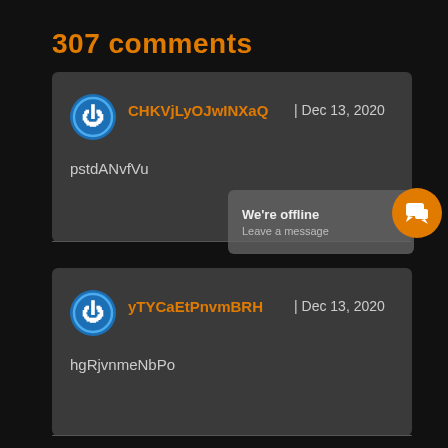307 comments
CHKVjLyOJwINXaQ | Dec 13, 2020
pstdANvfVu
[Figure (screenshot): Chat widget popup showing 'We're offline / Leave a message' with orange chat button]
yTYCaEtPnvmBRH | Dec 13, 2020
hgRjvnmeNbPo